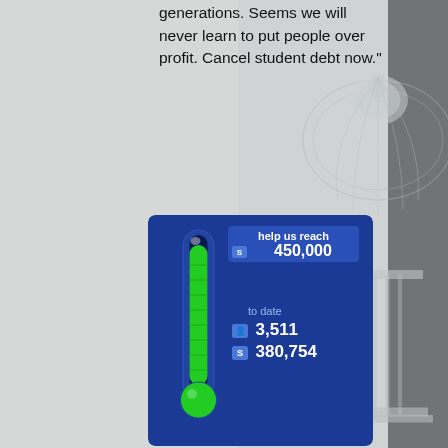generations. Seems we will never learn to put people over profit. Cancel student debt now."
[Figure (infographic): Fundraising thermometer widget with blue background showing goal of 450,000 signatures, and current stats of 3,511 people and 380,754 signatures to date. Green thermometer bar shown nearly full.]
If you'd like to see members of Congress like Jason Call, Steven Holden and Alexandra Hunt working in Washington, please consider using this thermometer to contribute what you can to their campaigns. That NY Times story from yesterday went on to remind